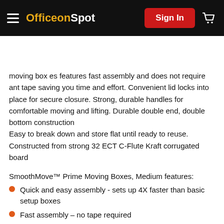OfficeonSpot - Sign In - Cart
Search Products ?
moving box es features fast assembly and does not require ant tape saving you time and effort. Convenient lid locks into place for secure closure. Strong, durable handles for comfortable moving and lifting. Durable double end, double bottom construction
Easy to break down and store flat until ready to reuse. Constructed from strong 32 ECT C-Flute Kraft corrugated board
SmoothMove™ Prime Moving Boxes, Medium features:
Quick and easy assembly - sets up 4X faster than basic setup boxes
Fast assembly – no tape required
Convenient lid locks into place for secure closure